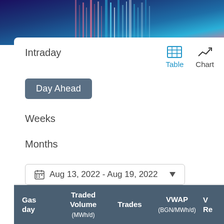[Figure (photo): Abstract neon data visualization banner with vertical bar patterns in blue, pink and purple tones]
Intraday
Table
Chart
Day Ahead
Weeks
Months
Aug 13, 2022 - Aug 19, 2022
| Gas day | Traded Volume (MWh/d) | Trades | VWAP (BGN/MWh/d) | VW Re |
| --- | --- | --- | --- | --- |